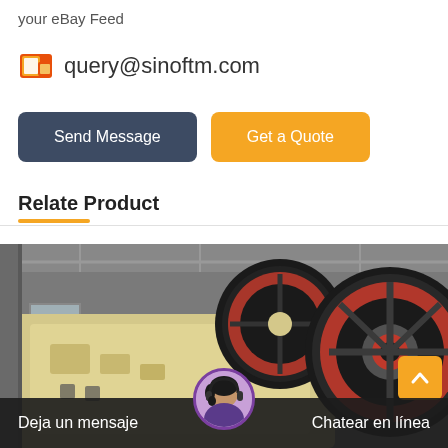your eBay Feed
query@sinoftm.com
Send Message
Get a Quote
Relate Product
[Figure (photo): Industrial jaw crusher machine with large black and red flywheels, yellow body, photographed in a factory/warehouse setting.]
Deja un mensaje
Chatear en línea